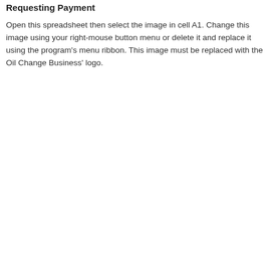Requesting Payment
Open this spreadsheet then select the image in cell A1. Change this image using your right-mouse button menu or delete it and replace it using the program's menu ribbon. This image must be replaced with the Oil Change Business' logo.